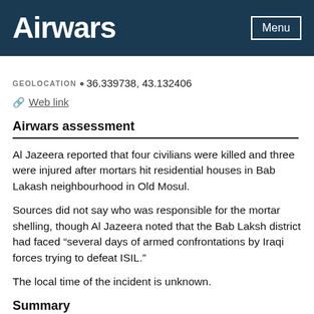Airwars | Menu
GEOLOCATION 36.339738, 43.132406
Web link
Airwars assessment
Al Jazeera reported that four civilians were killed and three were injured after mortars hit residential houses in Bab Lakash neighbourhood in Old Mosul.
Sources did not say who was responsible for the mortar shelling, though Al Jazeera noted that the Bab Laksh district had faced “several days of armed confrontations by Iraqi forces trying to defeat ISIL.”
The local time of the incident is unknown.
Summary